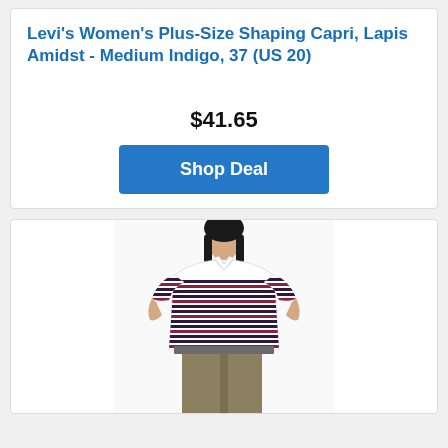Levi's Women's Plus-Size Shaping Capri, Lapis Amidst - Medium Indigo, 37 (US 20)
$41.65
Shop Deal
[Figure (photo): A man wearing a white and dark navy/burgundy horizontally striped short-sleeve polo shirt with a collar, paired with khaki/olive trousers. The photo is cropped from chin to upper thigh.]